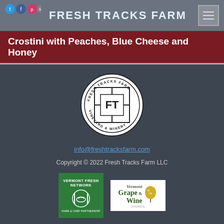FRESH TRACKS FARM
Crostini with Peaches, Blue Cheese and Honey
[Figure (logo): Fresh Tracks Farm Vineyard & Winery circular logo in black and white]
info@freshtracksfarm.com
Copyright © 2022 Fresh Tracks Farm LLC
[Figure (logo): Vermont Fresh Network Farm & Chef Partnership green badge logo]
[Figure (logo): Vermont Grape & Wine Council white badge logo]